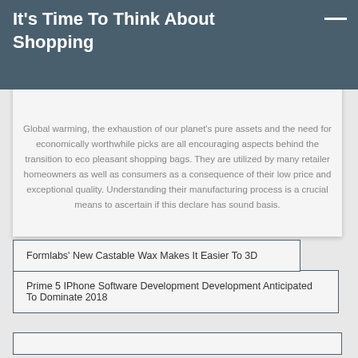It's Time To Think About Shopping
Global warming, the exhaustion of our planet's pure assets and the need for economically worthwhile picks are all encouraging aspects behind the transition to eco pleasant shopping bags. They are utilized by many retailer homeowners as well as consumers as a consequence of their low price and exceptional quality. Understanding their manufacturing process is a crucial means to ascertain if this declare has sound basis.
Formlabs' New Castable Wax Makes It Easier To 3D
Prime 5 IPhone Software Development Development Anticipated To Dominate 2018